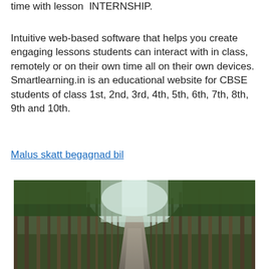time with lesson  INTERNSHIP.
Intuitive web-based software that helps you create engaging lessons students can interact with in class, remotely or on their own time all on their own devices. Smartlearning.in is an educational website for CBSE students of class 1st, 2nd, 3rd, 4th, 5th, 6th, 7th, 8th, 9th and 10th.
Malus skatt begagnad bil
[Figure (photo): A forest road lined with tall pine trees on both sides, with a path leading into the distance and a bright sky visible above through the canopy.]